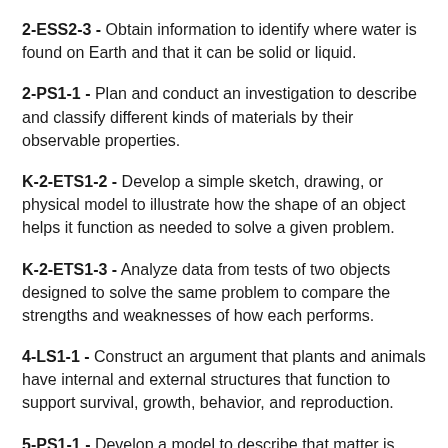2-ESS2-3 - Obtain information to identify where water is found on Earth and that it can be solid or liquid.
2-PS1-1 - Plan and conduct an investigation to describe and classify different kinds of materials by their observable properties.
K-2-ETS1-2 - Develop a simple sketch, drawing, or physical model to illustrate how the shape of an object helps it function as needed to solve a given problem.
K-2-ETS1-3 - Analyze data from tests of two objects designed to solve the same problem to compare the strengths and weaknesses of how each performs.
4-LS1-1 - Construct an argument that plants and animals have internal and external structures that function to support survival, growth, behavior, and reproduction.
5-PS1-1 - Develop a model to describe that matter is made of